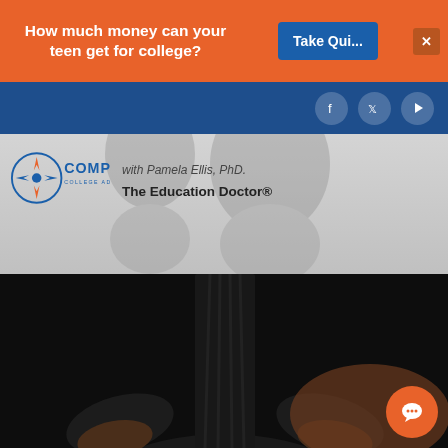How much money can your teen get for college?
Take Qui...
[Figure (screenshot): Website screenshot of Compass College Advisory featuring Pamela Ellis PhD, The Education Doctor. Orange promotional banner at top, blue navigation bar with social icons, gray hero section with logo, and professional photo of a woman in black attire.]
with Pamela Ellis, PhD.
The Education Doctor®